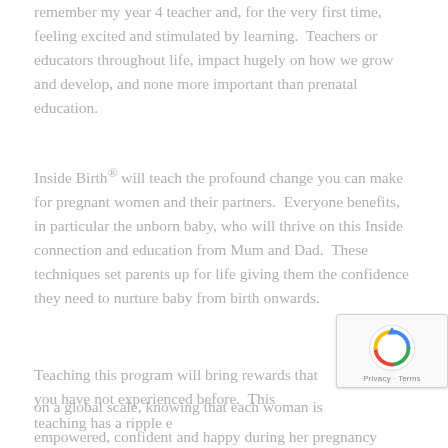remember my year 4 teacher and, for the very first time, feeling excited and stimulated by learning.  Teachers or educators throughout life, impact hugely on how we grow and develop, and none more important than prenatal education.
Inside Birth® will teach the profound change you can make for pregnant women and their partners.  Everyone benefits, in particular the unborn baby, who will thrive on this Inside connection and education from Mum and Dad.  These techniques set parents up for life giving them the confidence they need to nurture baby from birth onwards.
Teaching this program will bring rewards that you have not experienced before.  This teaching has a ripple e... on a global scale, knowing that each woman is empowered, confident and happy during her pregnancy...